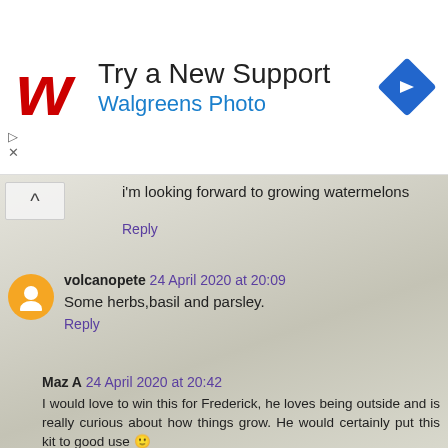[Figure (logo): Walgreens advertisement banner with stylized W logo in red, 'Try a New Support' heading, 'Walgreens Photo' subheading in blue, and a blue diamond directional arrow icon on the right]
i'm looking forward to growing watermelons
Reply
volcanopete 24 April 2020 at 20:09
Some herbs,basil and parsley.
Reply
Maz A 24 April 2020 at 20:42
I would love to win this for Frederick, he loves being outside and is really curious about how things grow. He would certainly put this kit to good use 🙂
Reply